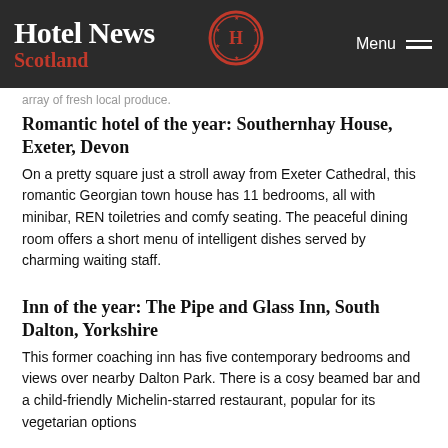Hotel News Scotland
array of fresh local produce.
Romantic hotel of the year: Southernhay House, Exeter, Devon
On a pretty square just a stroll away from Exeter Cathedral, this romantic Georgian town house has 11 bedrooms, all with minibar, REN toiletries and comfy seating. The peaceful dining room offers a short menu of intelligent dishes served by charming waiting staff.
Inn of the year: The Pipe and Glass Inn, South Dalton, Yorkshire
This former coaching inn has five contemporary bedrooms and views over nearby Dalton Park. There is a cosy beamed bar and a child-friendly Michelin-starred restaurant, popular for its vegetarian options